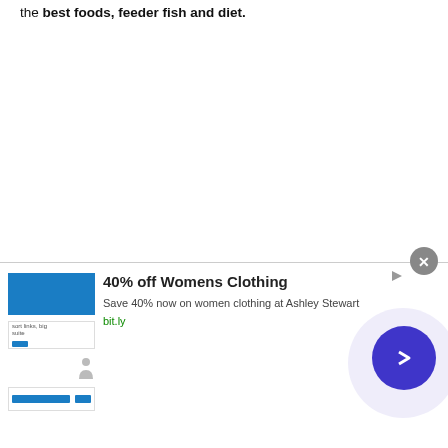the best foods, feeder fish and diet.
[Figure (screenshot): Advertisement banner for 40% off Womens Clothing at Ashley Stewart. Contains a screenshot thumbnail of a website on the left, bold text '40% off Womens Clothing', subtitle 'Save 40% now on women clothing at Ashley Stewart', URL 'bit.ly' in green, a circular blue arrow button, and a close (X) button.]